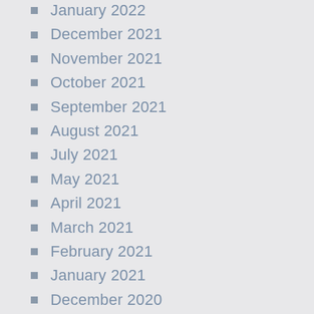January 2022
December 2021
November 2021
October 2021
September 2021
August 2021
July 2021
May 2021
April 2021
March 2021
February 2021
January 2021
December 2020
November 2020
October 2020
September 2020
August 2020